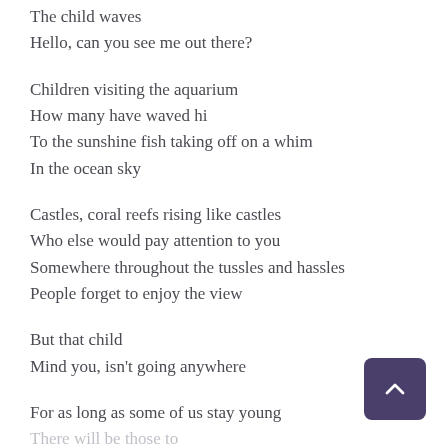The child waves
Hello, can you see me out there?
Children visiting the aquarium
How many have waved hi
To the sunshine fish taking off on a whim
In the ocean sky
Castles, coral reefs rising like castles
Who else would pay attention to you
Somewhere throughout the tussles and hassles
People forget to enjoy the view
But that child
Mind you, isn't going anywhere
For as long as some of us stay young
There will be those to...